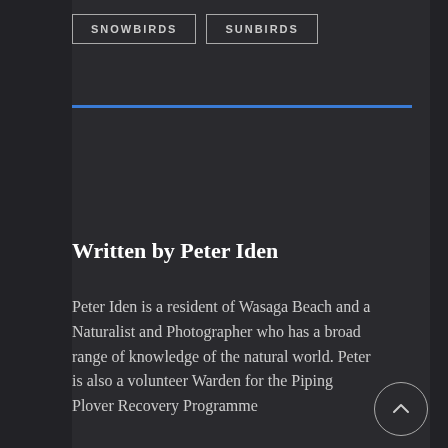SNOWBIRDS
SUNBIRDS
Written by Peter Iden
Peter Iden is a resident of Wasaga Beach and a Naturalist and Photographer who has a broad range of knowledge of the natural world. Peter is also a volunteer Warden for the Piping Plover Recovery Programme